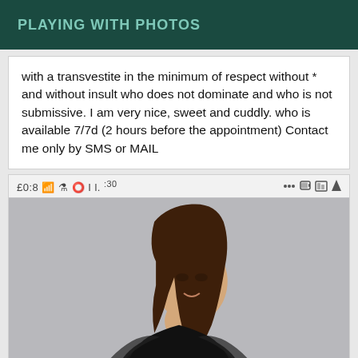PLAYING WITH PHOTOS
with a transvestite in the minimum of respect without * and without insult who does not dominate and who is not submissive. I am very nice, sweet and cuddly. who is available 7/7d (2 hours before the appointment) Contact me only by SMS or MAIL
[Figure (screenshot): Screenshot of a mobile phone display showing a photo of a person with long brown hair wearing a black top, posed against a grey background. The status bar shows time 8:03 and various phone status icons.]